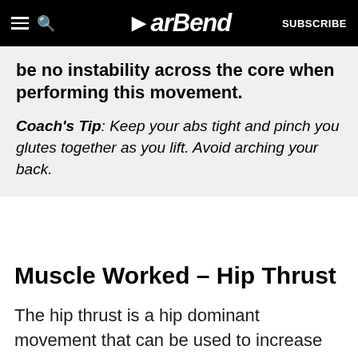BarBend — SUBSCRIBE
be no instability across the core when performing this movement.
Coach's Tip: Keep your abs tight and pinch you glutes together as you lift. Avoid arching your back.
Muscle Worked – Hip Thrust
The hip thrust is a hip dominant movement that can be used to increase glute and